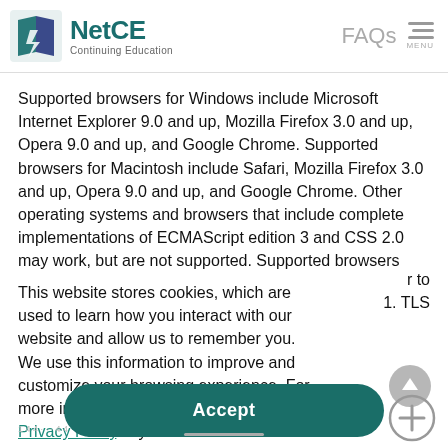[Figure (logo): NetCE Continuing Education logo with teal book/lightning bolt icon]
FAQs  MENU
Supported browsers for Windows include Microsoft Internet Explorer 9.0 and up, Mozilla Firefox 3.0 and up, Opera 9.0 and up, and Google Chrome. Supported browsers for Macintosh include Safari, Mozilla Firefox 3.0 and up, Opera 9.0 and up, and Google Chrome. Other operating systems and browsers that include complete implementations of ECMAScript edition 3 and CSS 2.0 may work, but are not supported. Supported browsers
This website stores cookies, which are used to learn how you interact with our website and allow us to remember you. We use this information to improve and customize your browsing experience. For more information, please review our Privacy Policy. If you are a California resident, please review our Privacy Notice for California Residents.